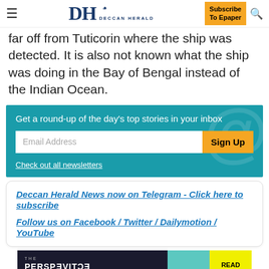DH Deccan Herald — Subscribe To Epaper
far off from Tuticorin where the ship was detected. It is also not known what the ship was doing in the Bay of Bengal instead of the Indian Ocean.
[Figure (infographic): Newsletter sign-up box with teal background. Text: 'Get a round-up of the day's top stories in your inbox'. Email Address input field. Sign Up button. 'Check out all newsletters' link.]
Deccan Herald News now on Telegram - Click here to subscribe

Follow us on Facebook / Twitter / Dailymotion / YouTube
[Figure (infographic): Ad banner: THE PERSPECTIVE SEE WHAT YOU'RE MISSING — READ MORE]